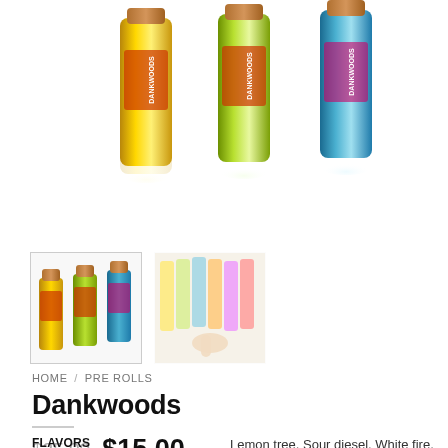[Figure (photo): Three colorful corked glass vials/pre-roll tubes (gold, green/yellow, blue) with reflections on white background, product main image]
[Figure (photo): Thumbnail 1: three corked vials (gold, green, blue) side by side]
[Figure (photo): Thumbnail 2: multiple colorful vials with a hand pointing, faded/ghost image]
HOME / PRE ROLLS
Dankwoods
$25.00  $15.00
FLAVORS   Lemon tree, Sour diesel, White fire, Sunset sherbet, Blue dream, Gelato, Wedding cake, Mimosa